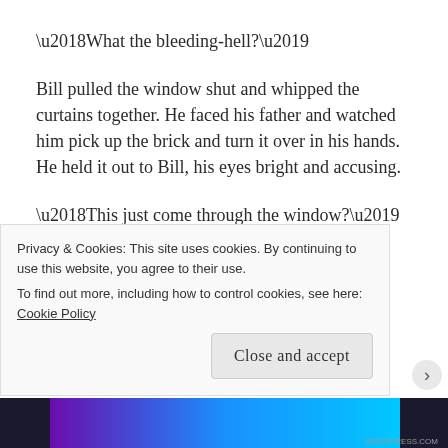‘What the bleeding-hell?’
Bill pulled the window shut and whipped the curtains together. He faced his father and watched him pick up the brick and turn it over in his hands. He held it out to Bill, his eyes bright and accusing.
‘This just come through the window?’ Bill paused, and his father reddened. ‘Eh? Did it?’
‘Looks like it, doesn’t it?’ he responded sulkily, pushing
Privacy & Cookies: This site uses cookies. By continuing to use this website, you agree to their use.
To find out more, including how to control cookies, see here: Cookie Policy
Close and accept